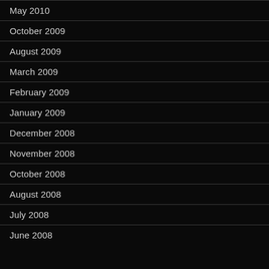May 2010
October 2009
August 2009
March 2009
February 2009
January 2009
December 2008
November 2008
October 2008
August 2008
July 2008
June 2008